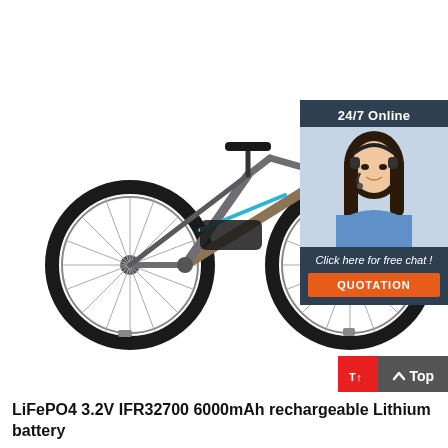[Figure (photo): Silver/gray electric mountain bike (e-bike) with blue accents, black tires, and a battery pack mounted on the frame, shown in profile/side view on white background]
[Figure (infographic): Customer service chat widget overlay showing a woman with headset, '24/7 Online' header, 'Click here for free chat!' text, and orange QUOTATION button]
[Figure (infographic): 'Top' scroll-to-top button with red and gray sections and upward arrow icon in bottom right corner]
LiFePO4 3.2V IFR32700 6000mAh rechargeable Lithium battery